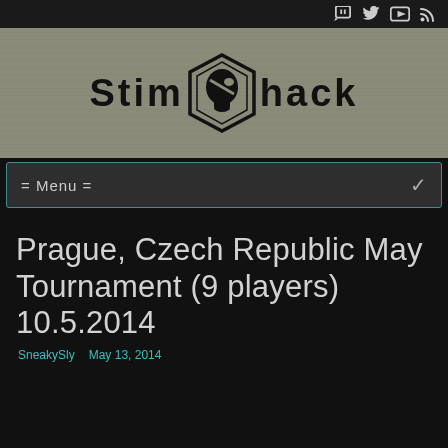Stim hack
[Figure (logo): Stimhack website banner with logo showing stylized head silhouette in hexagonal frame and text 'Stim hack']
= Menu =
Prague, Czech Republic May Tournament (9 players) 10.5.2014
SneakySly   May 13, 2014